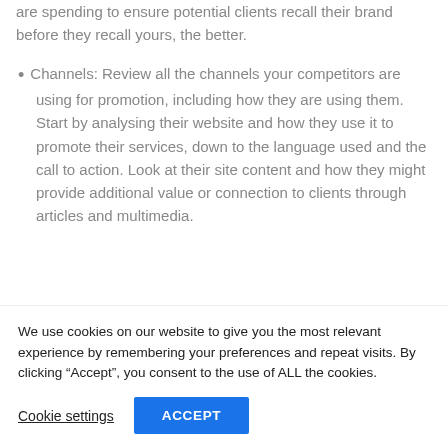are spending to ensure potential clients recall their brand before they recall yours, the better.
Channels: Review all the channels your competitors are using for promotion, including how they are using them. Start by analysing their website and how they use it to promote their services, down to the language used and the call to action. Look at their site content and how they might provide additional value or connection to clients through articles and multimedia.
Consider social channels, the content that is
We use cookies on our website to give you the most relevant experience by remembering your preferences and repeat visits. By clicking “Accept”, you consent to the use of ALL the cookies.